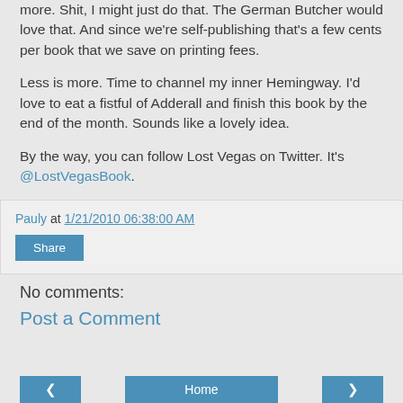more. Shit, I might just do that. The German Butcher would love that. And since we're self-publishing that's a few cents per book that we save on printing fees.
Less is more. Time to channel my inner Hemingway. I'd love to eat a fistful of Adderall and finish this book by the end of the month. Sounds like a lovely idea.
By the way, you can follow Lost Vegas on Twitter. It's @LostVegasBook.
Pauly at 1/21/2010 06:38:00 AM
Share
No comments:
Post a Comment
Home